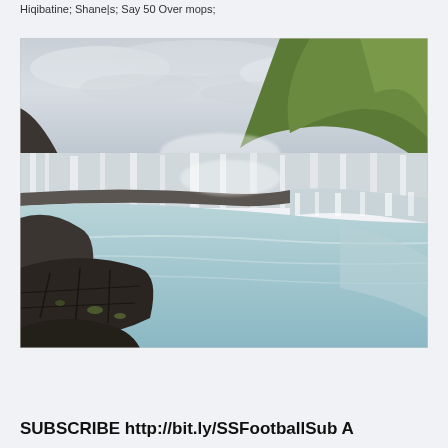Hiqibatine; Shane|s; Say 50 Over mops;
[Figure (photo): Long-exposure landscape photograph of a large waterfall (likely Gullfoss, Iceland) with silky white water cascading over rocky ledges into a turquoise river pool. Rocky basalt cliffs in the foreground on the left, green grassy hillside on the right, and a dramatic overcast sky above.]
SUBSCRIBE http://bit.ly/SSFootballSub A